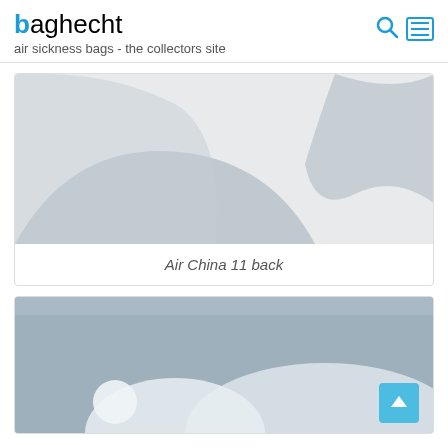baghecht — air sickness bags - the collectors site
[Figure (photo): Partial view of an air sickness bag (back side) — light gray background with darker gray abstract bag silhouette shapes, labeled Air China 11 back]
Air China 11 back
[Figure (photo): Partial view of another air sickness bag — blue-gray background with white circular and rounded shapes, partially cut off at the bottom of the page]